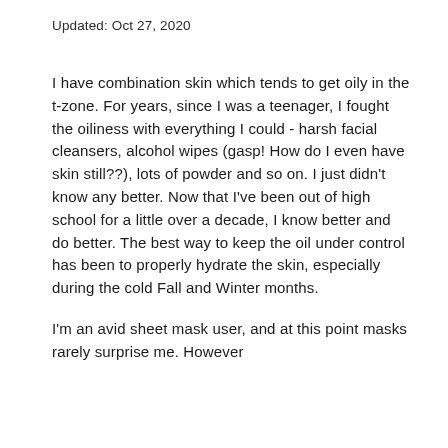Updated: Oct 27, 2020
I have combination skin which tends to get oily in the t-zone. For years, since I was a teenager, I fought the oiliness with everything I could - harsh facial cleansers, alcohol wipes (gasp! How do I even have skin still??), lots of powder and so on. I just didn't know any better. Now that I've been out of high school for a little over a decade, I know better and do better. The best way to keep the oil under control has been to properly hydrate the skin, especially during the cold Fall and Winter months.
I'm an avid sheet mask user, and at this point masks rarely surprise me. However